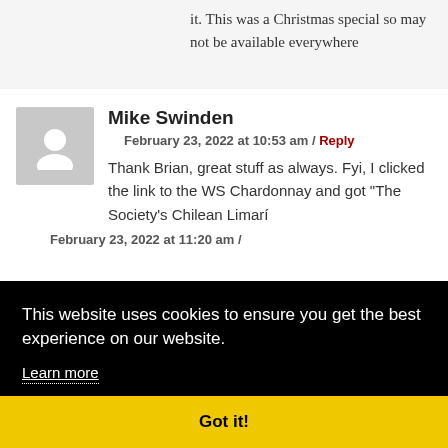it. This was a Christmas special so may not be available everywhere
Mike Swinden
February 23, 2022 at 10:53 am / Reply
Thank Brian, great stuff as always. Fyi, I clicked the link to the WS Chardonnay and got “The Society’s Chilean Limarí
This website uses cookies to ensure you get the best experience on our website.
Learn more
Got it!
February 23, 2022 at 11:20 am /